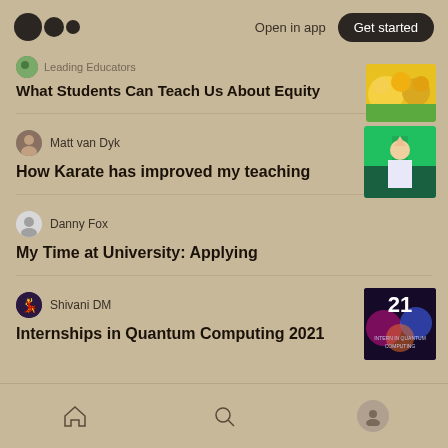Open in app | Get started
Leading Educators
What Students Can Teach Us About Equity
Matt van Dyk
How Karate has improved my teaching
Danny Fox
My Time at University: Applying
Shivani DM
Internships in Quantum Computing 2021
Home | Search | Profile